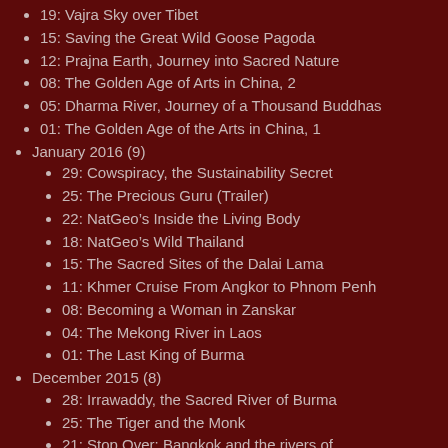19: Vajra Sky over Tibet
15: Saving the Great Wild Goose Pagoda
12: Prajna Earth, Journey into Sacred Nature
08: The Golden Age of Arts in China, 2
05: Dharma River, Journey of a Thousand Buddhas
01: The Golden Age of the Arts in China, 1
January 2016 (9)
29: Cowspiracy, the Sustainability Secret
25: The Precious Guru (Trailer)
22: NatGeo's Inside the Living Body
18: NatGeo's Wild Thailand
15: The Sacred Sites of the Dalai Lama
11: Khmer Cruise From Angkor to Phnom Penh
08: Becoming a Woman in Zanskar
04: The Mekong River in Laos
01: The Last King of Burma
December 2015 (8)
28: Irrawaddy, the Sacred River of Burma
25: The Tiger and the Monk
21: Stop Over: Bangkok and the rivers of